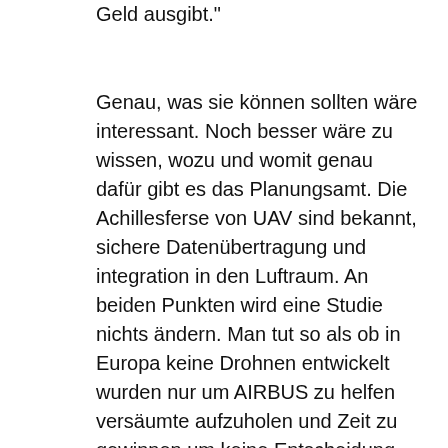bevor man den Feiertags- und Wochenmarkt mehr Geld ausgibt."
Genau, was sie können sollten wäre interessant. Noch besser wäre zu wissen, wozu und womit genau dafür gibt es das Planungsamt. Die Achillesferse von UAV sind bekannt, sichere Datenübertragung und integration in den Luftraum. An beiden Punkten wird eine Studie nichts ändern. Man tut so als ob in Europa keine Drohnen entwickelt wurden nur um AIRBUS zu helfen versäumte aufzuholen und Zeit zu gewinnen um keine Entscheidung treffen zu müssen. 25Mio an ein Deutsches Unternehmen um eine Plattform zu entwickeln die eine bestimmte Leistung erbringt. Was SAT Cim zu welchem Preis